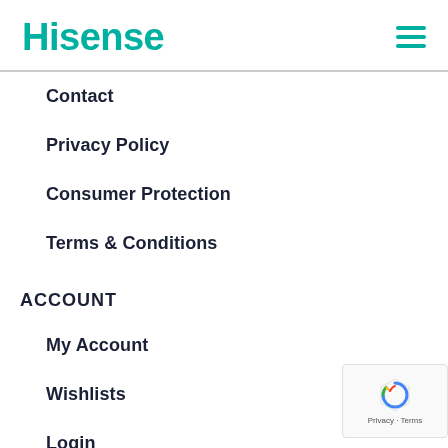Hisense
Contact
Privacy Policy
Consumer Protection
Terms & Conditions
ACCOUNT
My Account
Wishlists
Login